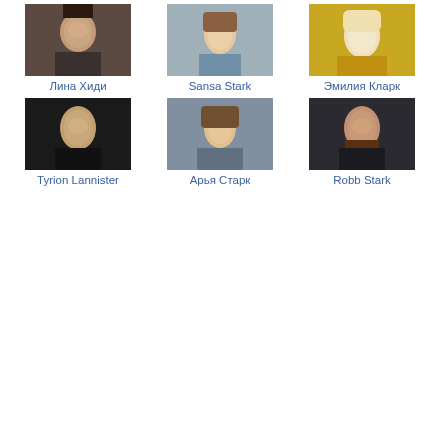[Figure (photo): Portrait thumbnail of Лина Хиди]
Лина Хиди
[Figure (photo): Portrait thumbnail of Sansa Stark]
Sansa Stark
[Figure (photo): Portrait thumbnail of Эмилия Кларк]
Эмилия Кларк
[Figure (photo): Portrait thumbnail of Tyrion Lannister]
Tyrion Lannister
[Figure (photo): Portrait thumbnail of Арья Старк]
Арья Старк
[Figure (photo): Portrait thumbnail of Robb Stark]
Robb Stark
еще клубы >>